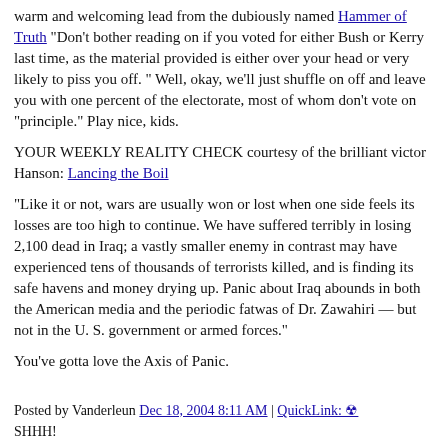warm and welcoming lead from the dubiously named Hammer of Truth "Don't bother reading on if you voted for either Bush or Kerry last time, as the material provided is either over your head or very likely to piss you off. " Well, okay, we'll just shuffle on off and leave you with one percent of the electorate, most of whom don't vote on "principle." Play nice, kids.
YOUR WEEKLY REALITY CHECK courtesy of the brilliant victor Hanson: Lancing the Boil
"Like it or not, wars are usually won or lost when one side feels its losses are too high to continue. We have suffered terribly in losing 2,100 dead in Iraq; a vastly smaller enemy in contrast may have experienced tens of thousands of terrorists killed, and is finding its safe havens and money drying up. Panic about Iraq abounds in both the American media and the periodic fatwas of Dr. Zawahiri — but not in the U. S. government or armed forces."
You've gotta love the Axis of Panic.
Posted by Vanderleun Dec 18, 2004 8:11 AM | QuickLink: ☢ SHHH!